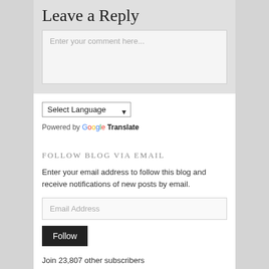Leave a Reply
[Figure (screenshot): Comment text area with placeholder text 'Enter your comment here...']
[Figure (screenshot): Select Language dropdown with chevron arrow]
Powered by Google Translate
FOLLOW BLOG VIA EMAIL
Enter your email address to follow this blog and receive notifications of new posts by email.
[Figure (screenshot): Email Address input field]
[Figure (screenshot): Follow button in dark background]
Join 23,807 other subscribers